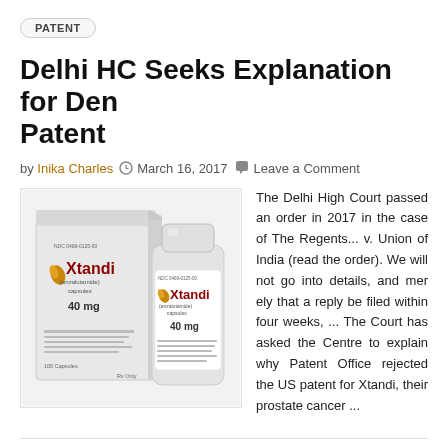PATENT
Delhi HC Seeks Explanation for Denial of Patent
by Inika Charles   March 16, 2017   Leave a Comment
[Figure (photo): Xtandi (enzalutamide) capsules 40mg product packaging — a box and a white bottle.]
The Delhi High Court passed an order in 2017 in the case of The Regents... v. Union of India (read the order). We will not go into details, and merely that a reply be filed within four weeks, ... The Court has asked the Centre to explain why Patent Office rejected the US patent for Xtandi, their prostate cancer ...
TRADEMARK
Bombay HC Full Bench Rules on the